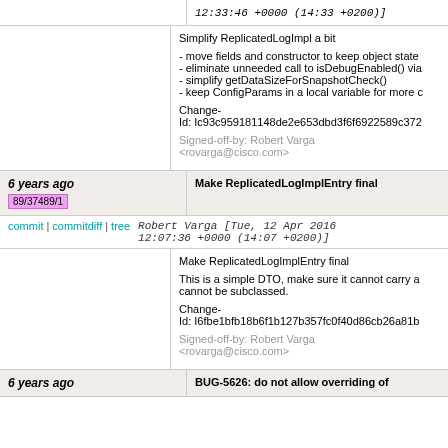12:33:46 +0000 (14:33 +0200)]
Simplify ReplicatedLogImpl a bit
- move fields and constructor to keep object state
- eliminate unneeded call to isDebugEnabled() via
- simplify getDataSizeForSnapshotCheck()
- keep ConfigParams in a local variable for more c
Change-Id: Ic93c959181148de2e653dbd3f6f6922589c372
Signed-off-by: Robert Varga <rovarga@cisco.com>
6 years ago  Make ReplicatedLogImplEntry final  89/37489/1
commit | commitdiff | tree  Robert Varga [Tue, 12 Apr 2016 12:07:36 +0000 (14:07 +0200)]
Make ReplicatedLogImplEntry final
This is a simple DTO, make sure it cannot carry a cannot be subclassed.
Change-Id: I6fbe1bfb18b6f1b127b357fc0f40d86cb26a81b
Signed-off-by: Robert Varga <rovarga@cisco.com>
6 years ago  BUG-5626: do not allow overriding of